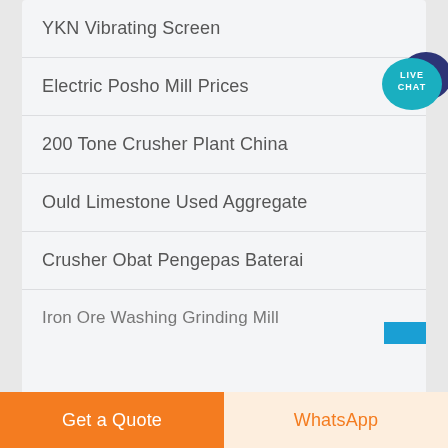YKN Vibrating Screen
Electric Posho Mill Prices
200 Tone Crusher Plant China
Ould Limestone Used Aggregate
Crusher Obat Pengepas Baterai
Iron Ore Washing Grinding Mill
[Figure (other): Live Chat button — teal speech bubble with dark blue shadow bubble, text: LIVE CHAT]
Get a Quote
WhatsApp